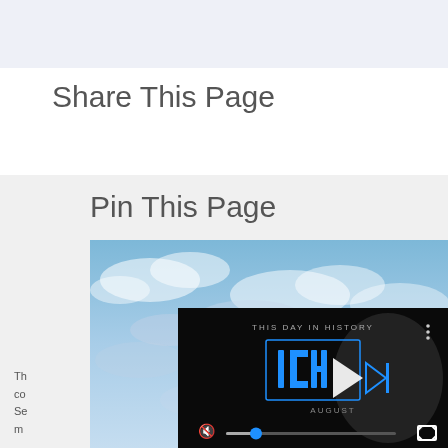Share This Page
Pin This Page
[Figure (screenshot): Screenshot of a webpage showing social sharing UI with 'Share This Page' heading, a light blue sky image with clouds, and an overlaid video player showing 'THIS DAY IN HISTORY' with play button, mute icon, progress bar, and fullscreen button. The video player is dark/black themed with blue accent colors.]
Th... co... Se... m...